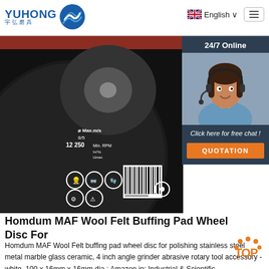[Figure (logo): YUHONG logo with Chinese characters and blue wave graphic]
[Figure (screenshot): UK flag icon with English language selector and hamburger menu]
[Figure (photo): Close-up photo of a dark grinding/buffing disc with safety icons, barcode and specifications printed on it. Red center visible.]
[Figure (photo): 24/7 Online chat widget showing a customer service representative with headset, with 'Click here for free chat!' text and QUOTATION button]
Homdum MAF Wool Felt Buffing Pad Wheel Disc For
Homdum MAF Wool Felt buffing pad wheel disc for polishing stainless steel metal marble glass ceramic, 4 inch angle grinder abrasive rotary tool accessory - white, 100 x 16mm x 16mm dia : Amazon.in: Industrial & Scientific